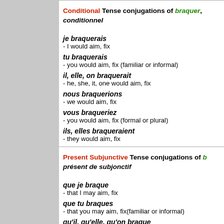Conditional Tense conjugations of braquer, conditionnel
je braquerais - I would aim, fix
tu braquerais - you would aim, fix (familiar or informal)
il, elle, on braquerait - he, she, it, one would aim, fix
nous braquerions - we would aim, fix
vous braqueriez - you would aim, fix (formal or plural)
ils, elles braqueraient - they would aim, fix
Present Subjunctive Tense conjugations of braquer, présent de subjonctif
que je braque - that I may aim, fix
que tu braques - that you may aim, fix(familiar or informal)
qu'il, qu'elle, qu'on braque - that he, she, it, one may aim, fix